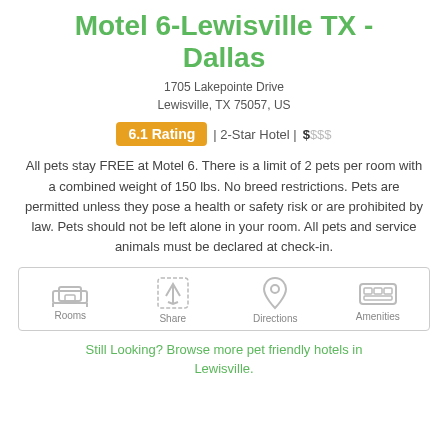Motel 6-Lewisville TX - Dallas
1705 Lakepointe Drive
Lewisville, TX 75057, US
6.1 Rating | 2-Star Hotel | $$$$
All pets stay FREE at Motel 6. There is a limit of 2 pets per room with a combined weight of 150 lbs. No breed restrictions. Pets are permitted unless they pose a health or safety risk or are prohibited by law. Pets should not be left alone in your room. All pets and service animals must be declared at check-in.
[Figure (infographic): Icon row with four items: Rooms, Share, Directions, Amenities]
Still Looking? Browse more pet friendly hotels in Lewisville.